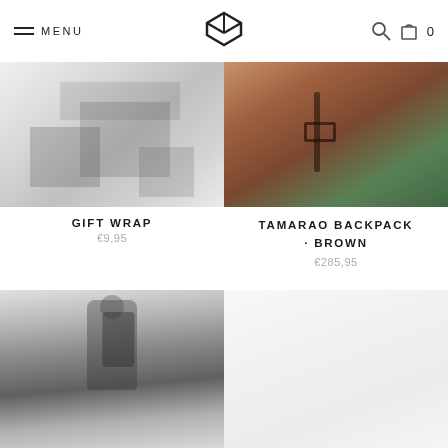MENU | [logo] | [search] [cart] 0
[Figure (photo): Product photo of gift wrap packaging boxes in grey/dark tones]
GIFT WRAP
€9,95
[Figure (photo): Product photo of Tamarao Backpack in brown leather, close-up of buckle/strap]
TAMARAO BACKPACK · BROWN
€285,95
[Figure (photo): Person wearing a dark backpack, seen from behind, outdoors]
[Figure (photo): Faded/partially visible product photo]